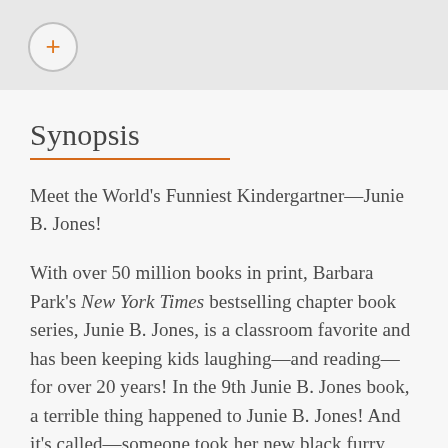[Figure (other): Circular button with orange plus sign on light gray header background]
Synopsis
Meet the World's Funniest Kindergartner—Junie B. Jones!
With over 50 million books in print, Barbara Park's New York Times bestselling chapter book series, Junie B. Jones, is a classroom favorite and has been keeping kids laughing—and reading—for over 20 years! In the 9th Junie B. Jones book, a terrible thing happened to Junie B. Jones! And it's called—someone took her new black furry mittens! And they kept them! They didn't even put them in the Lost and Found at school. So when Junie B.